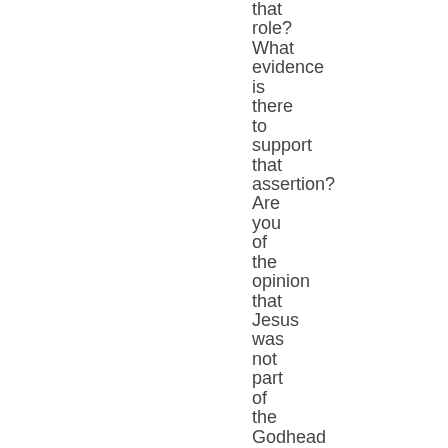that role? What evidence is there to support that assertion? Are you of the opinion that Jesus was not part of the Godhead and divine before his